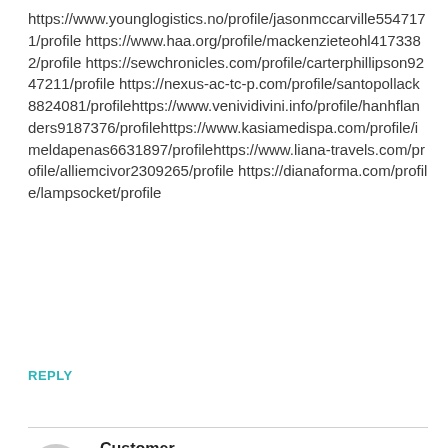https://www.younglogistics.no/profile/jasonmccarville5547171/profile https://www.haa.org/profile/mackenzieteohl4173382/profile https://sewchronicles.com/profile/carterphillipson9247211/profile https://nexus-ac-tc-p.com/profile/santopollack8824081/profilehttps://www.venividivini.info/profile/hanhflanders9187376/profilehttps://www.kasiamedispa.com/profile/imeldapenas6631897/profilehttps://www.liana-travels.com/profile/alliemcivor2309265/profile https://dianaforma.com/profile/lampsocket/profile
REPLY
Customer
30/08/2022